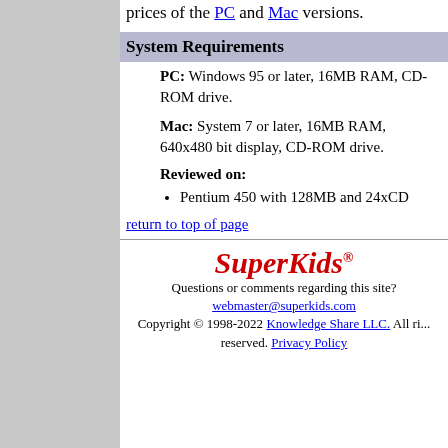prices of the PC and Mac versions.
System Requirements
PC: Windows 95 or later, 16MB RAM, CD-ROM drive.
Mac: System 7 or later, 16MB RAM, 640x480 bit display, CD-ROM drive.
Reviewed on:
Pentium 450 with 128MB and 24xCD
return to top of page
[Figure (logo): SuperKids logo in red italic bold text]
Questions or comments regarding this site? webmaster@superkids.com Copyright © 1998-2022 Knowledge Share LLC. All rights reserved. Privacy Policy